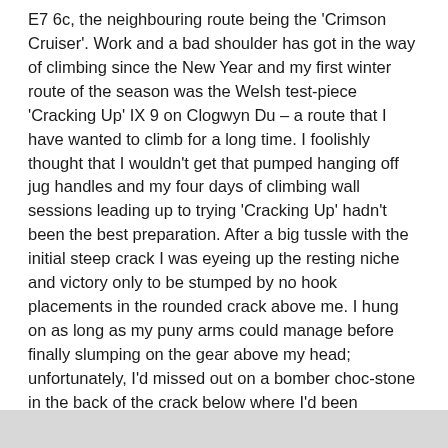E7 6c, the neighbouring route being the 'Crimson Cruiser'. Work and a bad shoulder has got in the way of climbing since the New Year and my first winter route of the season was the Welsh test-piece 'Cracking Up' IX 9 on Clogwyn Du – a route that I have wanted to climb for a long time. I foolishly thought that I wouldn't get that pumped hanging off jug handles and my four days of climbing wall sessions leading up to trying 'Cracking Up' hadn't been the best preparation. After a big tussle with the initial steep crack I was eyeing up the resting niche and victory only to be stumped by no hook placements in the rounded crack above me. I hung on as long as my puny arms could manage before finally slumping on the gear above my head; unfortunately, I'd missed out on a bomber choc-stone in the back of the crack below where I'd been reaching with my axes, I'm sure I'm not the only one to have made that mistake though.
[Figure (other): Gray bar at bottom of page]